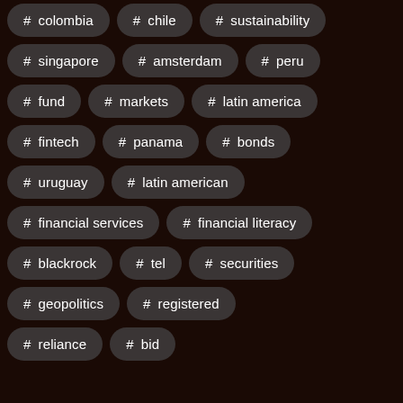# colombia
# chile
# sustainability
# singapore
# amsterdam
# peru
# fund
# markets
# latin america
# fintech
# panama
# bonds
# uruguay
# latin american
# financial services
# financial literacy
# blackrock
# tel
# securities
# geopolitics
# registered
# reliance
# bid